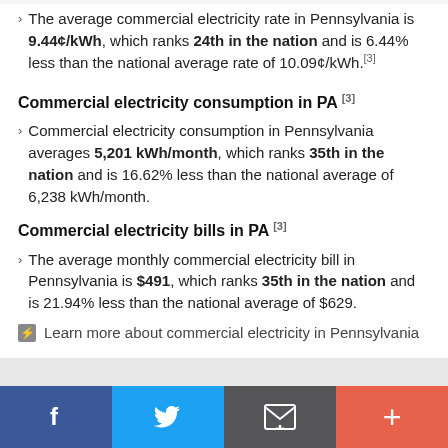The average commercial electricity rate in Pennsylvania is 9.44¢/kWh, which ranks 24th in the nation and is 6.44% less than the national average rate of 10.09¢/kWh.[3]
Commercial electricity consumption in PA [3]
Commercial electricity consumption in Pennsylvania averages 5,201 kWh/month, which ranks 35th in the nation and is 16.62% less than the national average of 6,238 kWh/month.
Commercial electricity bills in PA [3]
The average monthly commercial electricity bill in Pennsylvania is $491, which ranks 35th in the nation and is 21.94% less than the national average of $629.
Learn more about commercial electricity in Pennsylvania
Residential electricity in Pennsylvania
Residential electricity rates in Pennsylvania [3]